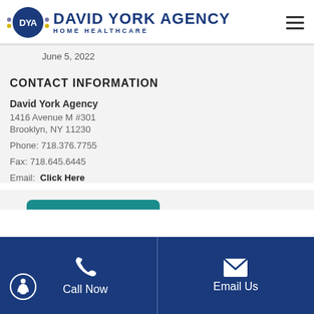DYA DAVID YORK AGENCY HOME HEALTHCARE
June 5, 2022
CONTACT INFORMATION
David York Agency
1416 Avenue M #301
Brooklyn, NY 11230

Phone: 718.376.7755

Fax: 718.645.6445

Email: Click Here
Call Now   Email Us